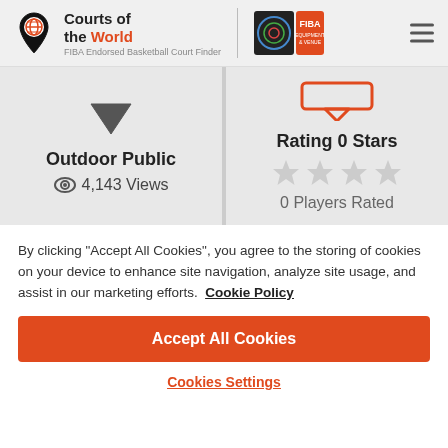[Figure (logo): Courts of the World - FIBA Endorsed Basketball Court Finder logo with map pin icon and FIBA Equipment & Venue badge]
Outdoor Public
4,143 Views
Rating 0 Stars
0 Players Rated
By clicking "Accept All Cookies", you agree to the storing of cookies on your device to enhance site navigation, analyze site usage, and assist in our marketing efforts.  Cookie Policy
Accept All Cookies
Cookies Settings